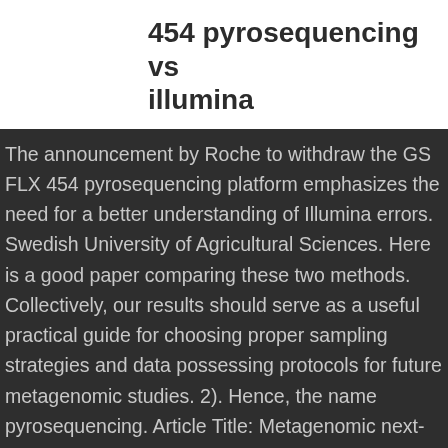454 pyrosequencing vs illumina
The announcement by Roche to withdraw the GS FLX 454 pyrosequencing platform emphasizes the need for a better understanding of Illumina errors. Swedish University of Agricultural Sciences. Here is a good paper comparing these two methods. Collectively, our results should serve as a useful practical guide for choosing proper sampling strategies and data possessing protocols for future metagenomic studies. 2). Hence, the name pyrosequencing. Article Title: Metagenomic next-generation sequencing aids the diagnosis of viral infections in febrile returning travellers Article Snippet: .. 454 pyrosequencing and subsequently Illumina sequencing were used in another outbreak of viral haemorrhagic fever in the Democratic Republic of the Congo and revealed a novel rhabdovirus – Bas Congo virus – as the aetiological agent. Recent sequencing our lab has conducted has actually been far cheaper than 454 too! A few of